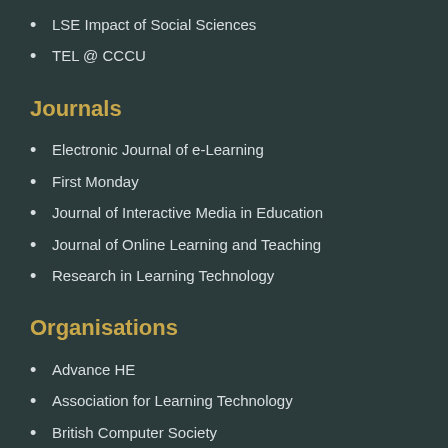LSE Impact of Social Sciences
TEL @ CCCU
Journals
Electronic Journal of e-Learning
First Monday
Journal of Interactive Media in Education
Journal of Online Learning and Teaching
Research in Learning Technology
Organisations
Advance HE
Association for Learning Technology
British Computer Society
Joint Information Systems Committee